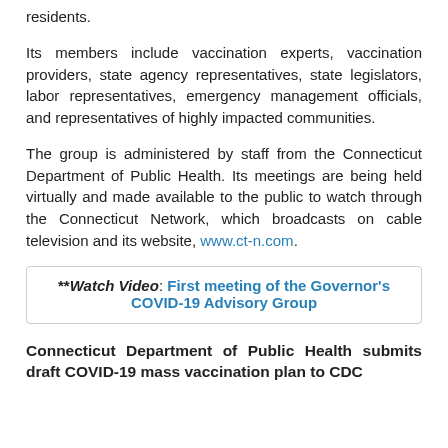residents.
Its members include vaccination experts, vaccination providers, state agency representatives, state legislators, labor representatives, emergency management officials, and representatives of highly impacted communities.
The group is administered by staff from the Connecticut Department of Public Health. Its meetings are being held virtually and made available to the public to watch through the Connecticut Network, which broadcasts on cable television and its website, www.ct-n.com.
**Watch Video: First meeting of the Governor's COVID-19 Advisory Group
Connecticut Department of Public Health submits draft COVID-19 mass vaccination plan to CDC